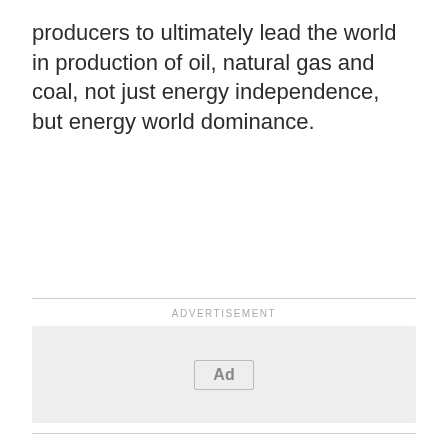producers to ultimately lead the world in production of oil, natural gas and coal, not just energy independence, but energy world dominance.
[Figure (other): Advertisement placeholder box with 'Ad' label in center and 'ADVERTISEMENT' text above divider line]